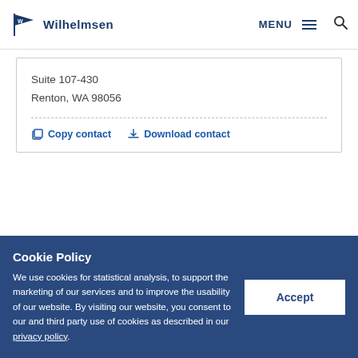Wilhelmsen — MENU
Suite 107-430
Renton, WA 98056
Copy contact   Download contact
Cookie Policy
We use cookies for statistical analysis, to support the marketing of our services and to improve the usability of our website. By visiting our website, you consent to our and third party use of cookies as described in our privacy policy.